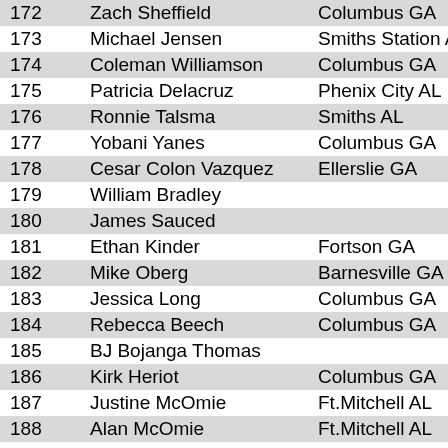| # | Name | Location |
| --- | --- | --- |
| 172 | Zach Sheffield | Columbus GA |
| 173 | Michael Jensen | Smiths Station AL |
| 174 | Coleman Williamson | Columbus GA |
| 175 | Patricia Delacruz | Phenix City AL |
| 176 | Ronnie Talsma | Smiths AL |
| 177 | Yobani Yanes | Columbus GA |
| 178 | Cesar Colon Vazquez | Ellerslie GA |
| 179 | William Bradley |  |
| 180 | James Sauced |  |
| 181 | Ethan Kinder | Fortson GA |
| 182 | Mike Oberg | Barnesville GA |
| 183 | Jessica Long | Columbus GA |
| 184 | Rebecca Beech | Columbus GA |
| 185 | BJ Bojanga Thomas |  |
| 186 | Kirk Heriot | Columbus GA |
| 187 | Justine McOmie | Ft.Mitchell AL |
| 188 | Alan McOmie | Ft.Mitchell AL |
| 189 | Matthew Deffenbaugh | Columbus GA |